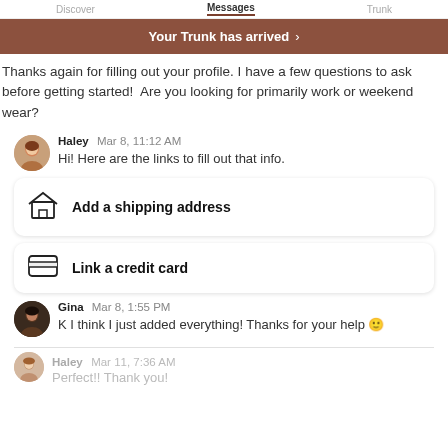Messages
Your Trunk has arrived >
Thanks again for filling out your profile. I have a few questions to ask before getting started!  Are you looking for primarily work or weekend wear?
Haley  Mar 8, 11:12 AM
Hi! Here are the links to fill out that info.
Add a shipping address
Link a credit card
Gina  Mar 8, 1:55 PM
K I think I just added everything! Thanks for your help 🙂
Haley  Mar 11, 7:36 AM
Perfect!! Thank you!